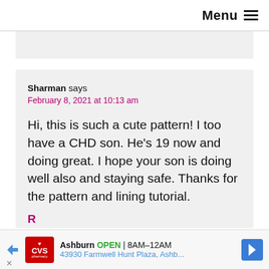Menu ≡
Sharman says
February 8, 2021 at 10:13 am

Hi, this is such a cute pattern! I too have a CHD son. He's 19 now and doing great. I hope your son is doing well also and staying safe. Thanks for the pattern and lining tutorial.
Ashburn  OPEN  8AM–12AM
43930 Farmwell Hunt Plaza, Ashb...